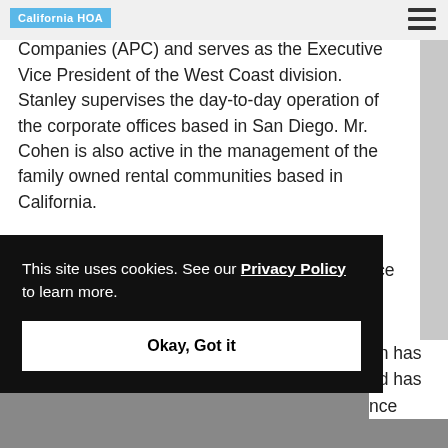California HOA
n is a managing partner of Atlantic Pacific Companies (APC) and serves as the Executive Vice President of the West Coast division. Stanley supervises the day-to-day operation of the corporate offices based in San Diego. Mr. Cohen is also active in the management of the family owned rental communities based in California.
Mr. Cohen originally hails from Miami Beach, Florida but has lived in the San Diego area since the early 1990's. He received his Bachelor of Science degree
en has nd has nce
This site uses cookies. See our Privacy Policy to learn more.
Okay, Got it